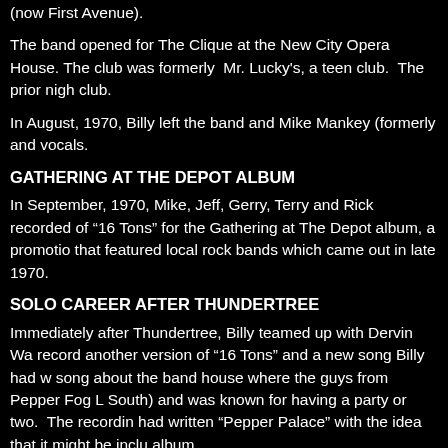(now First Avenue).
The band opened for The Clique at the New City Opera House. The club was formerly Mr. Lucky's, a teen club. The prior night club.
In August, 1970, Billy left the band and Mike Mankey (formerly and vocals.
GATHERING AT THE DEPOT ALBUM
In September, 1970, Mike, Jeff, Gerry, Terry and Rick recorded of “16 Tons” for the Gathering at The Depot album, a promotio that featured local rock bands which came out in late 1970.
SOLO CAREER AFTER THUNDERTREE
Immediately after Thundertree, Billy teamed up with Dervin Wa record another version of “16 Tons” and a new song Billy had w song about the band house where the guys from Pepper Fog L South) and was known for having a party or two. The recordin had written “Pepper Palace” with the idea that it might be inclu album.
Billy took the two songs out to New York City and “shopped th